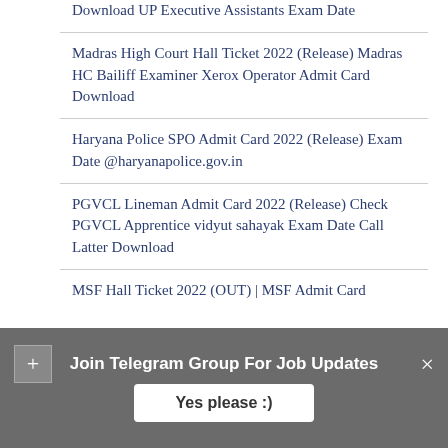Download UP Executive Assistants Exam Date
Madras High Court Hall Ticket 2022 (Release) Madras HC Bailiff Examiner Xerox Operator Admit Card Download
Haryana Police SPO Admit Card 2022 (Release) Exam Date @haryanapolice.gov.in
PGVCL Lineman Admit Card 2022 (Release) Check PGVCL Apprentice vidyut sahayak Exam Date Call Latter Download
MSF Hall Ticket 2022 (OUT) | MSF Admit Card
Join Telegram Group For Job Updates